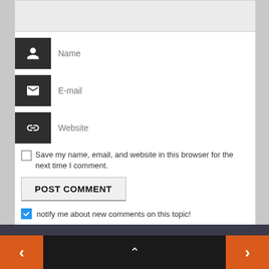[Figure (screenshot): Comment form with Name, E-mail, Website input fields, a Save my name checkbox, Post Comment button, and a notify me checkbox. Below is a dark navigation bar with orange left/right arrows.]
Name
E-mail
Website
Save my name, email, and website in this browser for the next time I comment.
POST COMMENT
notify me about new comments on this topic!